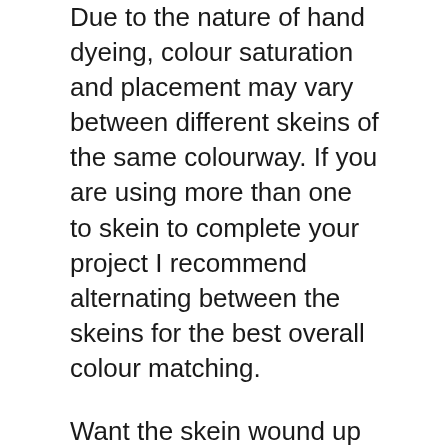Due to the nature of hand dyeing, colour saturation and placement may vary between different skeins of the same colourway. If you are using more than one to skein to complete your project I recommend alternating between the skeins for the best overall colour matching.
Want the skein wound up and ready to knit? Add on my caking service to your order.
https://my-mama-knits.myshopify.com/products/yarn-caking-service
Ever had a wash load turn pink because of one tiny red sock? Although all wool has been washed thoroughly after dyeing, it is advisable